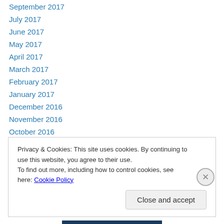September 2017
July 2017
June 2017
May 2017
April 2017
March 2017
February 2017
January 2017
December 2016
November 2016
October 2016
September 2016
May 2016
Privacy & Cookies: This site uses cookies. By continuing to use this website, you agree to their use. To find out more, including how to control cookies, see here: Cookie Policy
Close and accept